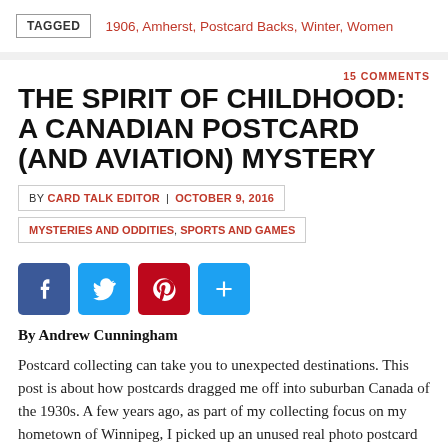TAGGED  1906, Amherst, Postcard Backs, Winter, Women
15 COMMENTS
THE SPIRIT OF CHILDHOOD: A CANADIAN POSTCARD (AND AVIATION) MYSTERY
BY CARD TALK EDITOR  OCTOBER 9, 2016  MYSTERIES AND ODDITIES, SPORTS AND GAMES
[Figure (infographic): Social share buttons: Facebook (blue), Twitter (light blue), Pinterest (red), Share/Plus (blue)]
By Andrew Cunningham
Postcard collecting can take you to unexpected destinations. This post is about how postcards dragged me off into suburban Canada of the 1930s. A few years ago, as part of my collecting focus on my hometown of Winnipeg, I picked up an unused real photo postcard